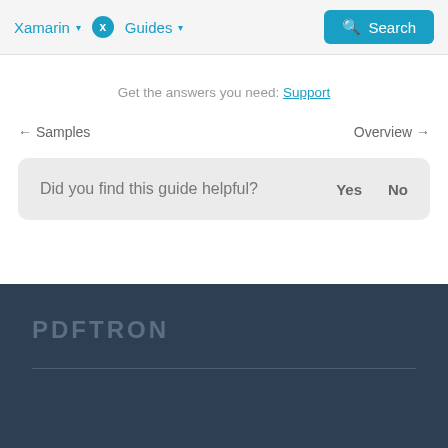Xamarin ▾  X  Guides ▾   Search
Get the answers you need: Support
← Samples     Overview →
Did you find this guide helpful? Yes  No
[Figure (logo): PDFTron logo in dark footer area]